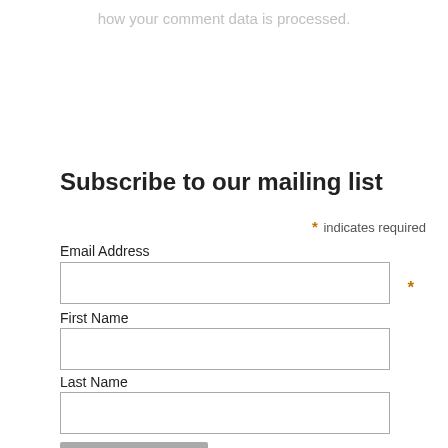how your comment data is processed.
Subscribe to our mailing list
* indicates required
Email Address
First Name
Last Name
Subscribe